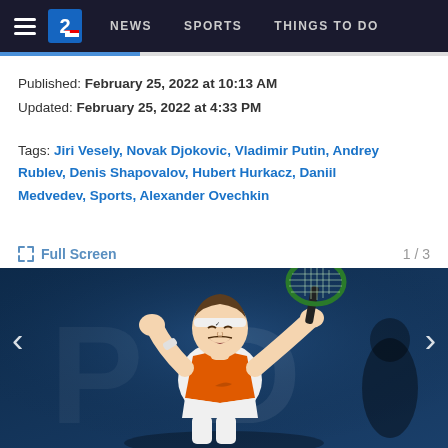NEWS   SPORTS   THINGS TO DO
Published: February 25, 2022 at 10:13 AM
Updated: February 25, 2022 at 4:33 PM
Tags: Jiri Vesely, Novak Djokovic, Vladimir Putin, Andrey Rublev, Denis Shapovalov, Hubert Hurkacz, Daniil Medvedev, Sports, Alexander Ovechkin
Full Screen   1 / 3
[Figure (photo): Tennis player celebrating with fist raised and holding racket, wearing white and orange Nike outfit with white headband, blue background with partial text visible]